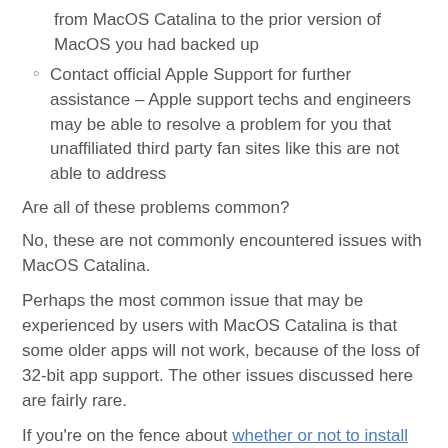from MacOS Catalina to the prior version of MacOS you had backed up
Contact official Apple Support for further assistance – Apple support techs and engineers may be able to resolve a problem for you that unaffiliated third party fan sites like this are not able to address
Are all of these problems common?
No, these are not commonly encountered issues with MacOS Catalina.
Perhaps the most common issue that may be experienced by users with MacOS Catalina is that some older apps will not work, because of the loss of 32-bit app support. The other issues discussed here are fairly rare.
If you're on the fence about whether or not to install